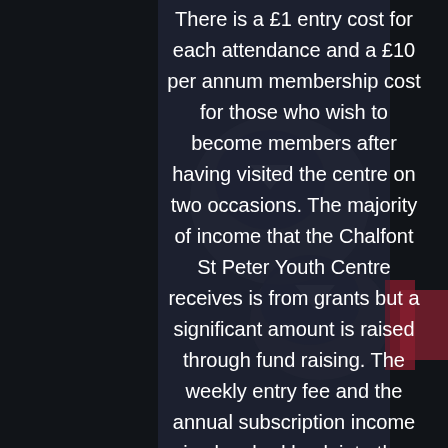[Figure (photo): Dark background image showing what appears to be game controllers or similar objects, with a reddish element visible at the right edge.]
There is a £1 entry cost for each attendance and a £10 per annum membership cost for those who wish to become members after having visited the centre on two occasions. The majority of income that the Chalfont St Peter Youth Centre receives is from grants but a significant amount is raised through fund raising. The weekly entry fee and the annual subscription income is ploughed back into the Youth Centre to provide and enhance the resources to support the delivery of excellent youth work in our